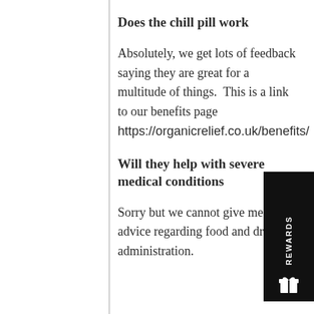Does the chill pill work
Absolutely, we get lots of feedback saying they are great for a multitude of things.  This is a link to our benefits page https://organicrelief.co.uk/benefits/
Will they help with severe medical conditions
Sorry but we cannot give medical advice regarding food and drug administration.